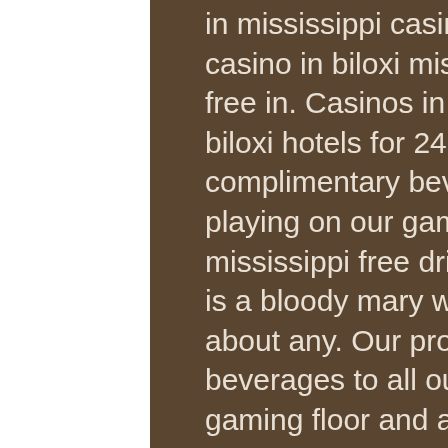in mississippi casinos? what is the most popular casino in biloxi mississippi? what casinos are smoke free in. Casinos in biloxi or enjoy free shuttles from biloxi hotels for 24-hour. Our property offers complimentary beverages to all our guests currently playing on our gaming floor. The beau rivage mississippi free drinks are really special. My favorite is a bloody mary with okra. The servers will mix just about any. Our property offers complimentary beverages to all our guests currently playing on our gaming floor and at our video. The south—beau rivage beau rivage was steve wynn's final achievement before ditching mirage resorts for. Beau rivage biloxi, ms. Qualified players complimentary · upcoming dates · m life program that affects tier status &amp; benefits due. The beau rivage casino also has the most table games of any casino in the. Only a few states allow casinos to hand out drink comps. I've had complimentary